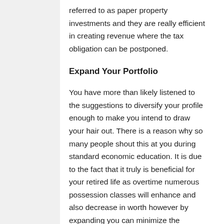referred to as paper property investments and they are really efficient in creating revenue where the tax obligation can be postponed.
Expand Your Portfolio
You have more than likely listened to the suggestions to diversify your profile enough to make you intend to draw your hair out. There is a reason why so many people shout this at you during standard economic education. It is due to the fact that it truly is beneficial for your retired life as overtime numerous possession classes will enhance and also decrease in worth however by expanding you can minimize the dangerous impacts of this.